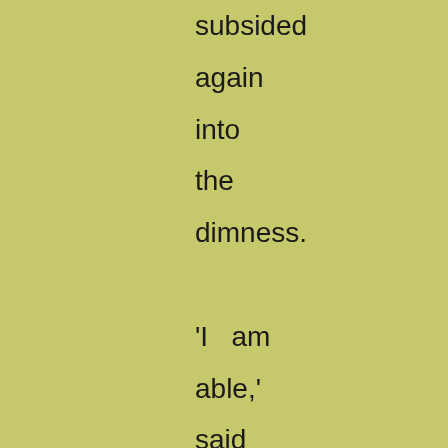subsided again into the dimness. 'I am able,' said Mrs Clennam, with a slight motion of her worstedmuffled right hand toward